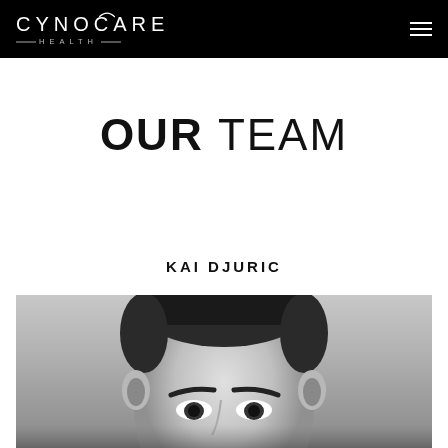CYNOCARE HEALTH
OUR TEAM
KAI DJURIC
[Figure (photo): Black and white portrait photo of Kai Djuric, a man with short dark hair, shown from approximately the forehead down to mid-face level, looking slightly downward.]